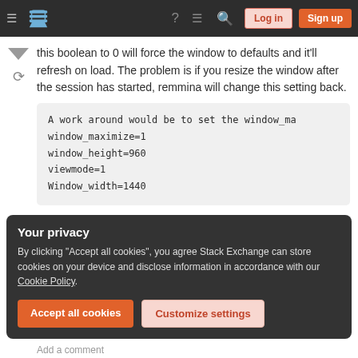Stack Exchange navigation bar with Log in and Sign up buttons
this boolean to 0 will force the window to defaults and it'll refresh on load. The problem is if you resize the window after the session has started, remmina will change this setting back.
A work around would be to set the window_ma
window_maximize=1
window_height=960
viewmode=1
Window_width=1440
Your privacy
By clicking "Accept all cookies", you agree Stack Exchange can store cookies on your device and disclose information in accordance with our Cookie Policy.
Accept all cookies   Customize settings
Add a comment